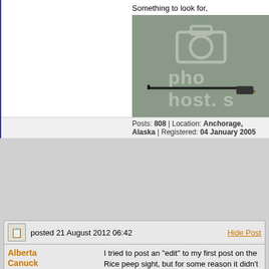Something to look for,
[Figure (photo): Photo of a rifle barrel/stock on a green background with photobucket watermark]
Posts: 808 | Location: Anchorage, Alaska | Registered: 04 January 2005
posted 21 August 2012 06:42
Alberta Canuck
one of us
I tried to post an "edit" to my first post on the Rice peep sight, but for some reason it didn't "take". Turns out the Rice who made the peep for the Krag was apparently a different man and outfit from the Rice Gun Sight Company of San Francisco. The sight for the Krag such as the one on Mr. Petrov's rifle was made by Leroy